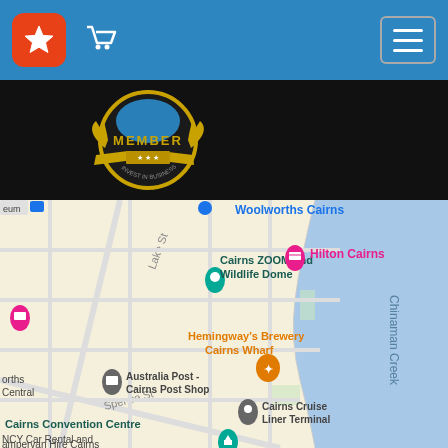[Figure (screenshot): Mobile app navigation bar with red star logo icon, shopping cart icon, and hamburger menu button on blue background]
[Figure (screenshot): Member badge with gold laurel wreath design, text reading MEMBER and INVEST IN BUSINESS on dark/black background]
[Figure (map): Google Maps screenshot showing Cairns city center with landmarks including Woolworths Cairns, Cairns ZOOM and Wildlife Dome, Hilton Cairns, Hemingway's Brewery Cairns Wharf, Australia Post - Cairns Post Shop, Cairns Cruise Liner Terminal, Cairns Convention Centre, and NCY Car Rental and Campervan Hire Cairns, with Chinaman Creek waterway visible on the right side]